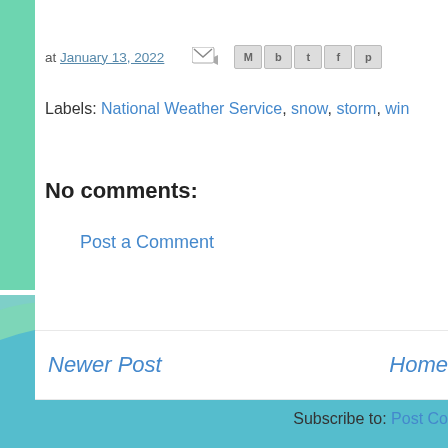at January 13, 2022 [share icons]
Labels: National Weather Service, snow, storm, win...
No comments:
Post a Comment
Newer Post | Home
Subscribe to: Post Co...